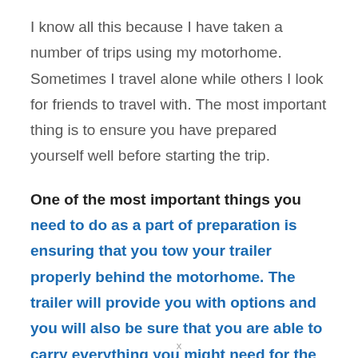I know all this because I have taken a number of trips using my motorhome. Sometimes I travel alone while others I look for friends to travel with. The most important thing is to ensure you have prepared yourself well before starting the trip.
One of the most important things you need to do as a part of preparation is ensuring that you tow your trailer properly behind the motorhome. The trailer will provide you with options and you will also be sure that you are able to carry everything you might need for the
x